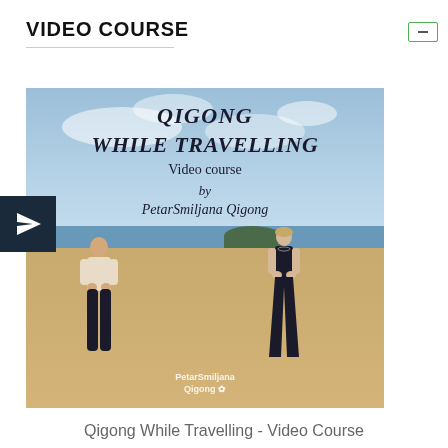VIDEO COURSE
[Figure (photo): Cover image for the Qigong While Travelling video course by PetarSmiljana Qigong. Shows two people standing on a beach with sea and cloudy sky in the background. Text overlay reads: QIGONG WHILE TRAVELLING Video course by PetarSmiljana Qigong. A dark square icon with a paper plane/send arrow is overlaid on the left edge.]
Qigong While Travelling - Video Course